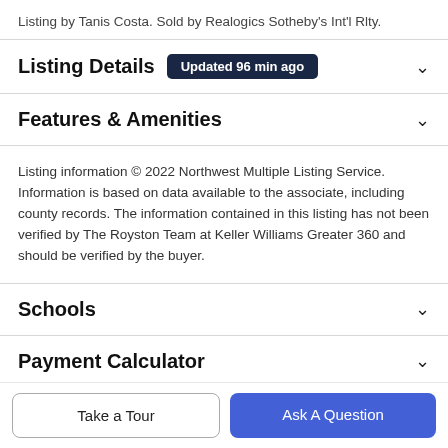Listing by Tanis Costa. Sold by Realogics Sotheby's Int'l Rlty.
Listing Details   Updated 96 min ago
Features & Amenities
Listing information © 2022 Northwest Multiple Listing Service. Information is based on data available to the associate, including county records. The information contained in this listing has not been verified by The Royston Team at Keller Williams Greater 360 and should be verified by the buyer.
Schools
Payment Calculator
Take a Tour
Ask A Question